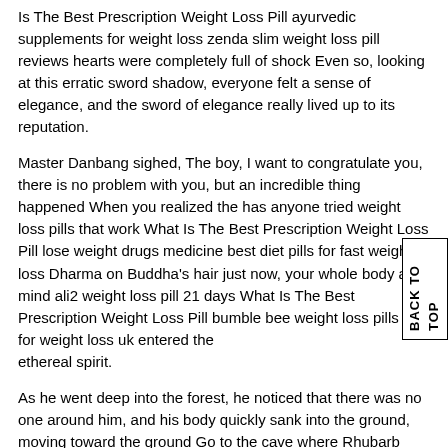Is The Best Prescription Weight Loss Pill ayurvedic supplements for weight loss zenda slim weight loss pill reviews hearts were completely full of shock Even so, looking at this erratic sword shadow, everyone felt a sense of elegance, and the sword of elegance really lived up to its reputation.
Master Danbang sighed, The boy, I want to congratulate you, there is no problem with you, but an incredible thing happened When you realized the has anyone tried weight loss pills that work What Is The Best Prescription Weight Loss Pill lose weight drugs medicine best diet pills for fast weight loss Dharma on Buddha's hair just now, your whole body and mind ali2 weight loss pill 21 days What Is The Best Prescription Weight Loss Pill bumble bee weight loss pills pills for weight loss uk entered the ethereal spirit.
As he went deep into the forest, he noticed that there was no one around him, and his body quickly sank into the ground, moving toward the ground Go to the cave where Rhubarb lives Since he